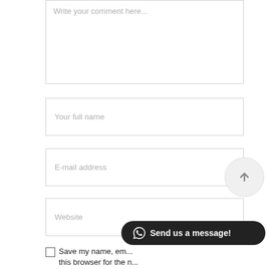[Figure (screenshot): Textarea input box with placeholder text 'Write your comment here...']
Your full name
E-mail address
Website
[Figure (other): Scroll-to-top circular button with upward arrow]
Save my name, em... this browser for the n...
[Figure (other): Send us a message! WhatsApp button in dark pill shape]